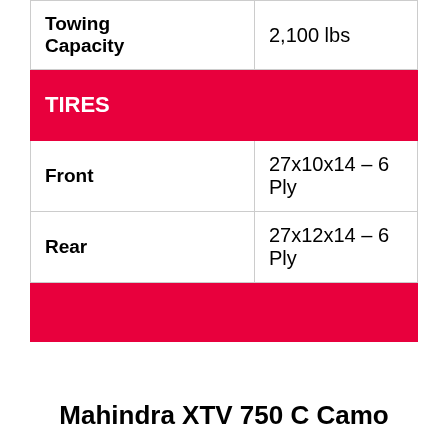| Specification | Value |
| --- | --- |
| Towing Capacity | 2,100 lbs |
| TIRES |  |
| Front | 27x10x14 – 6 Ply |
| Rear | 27x12x14 – 6 Ply |
|  |  |
Mahindra XTV 750 C Camo